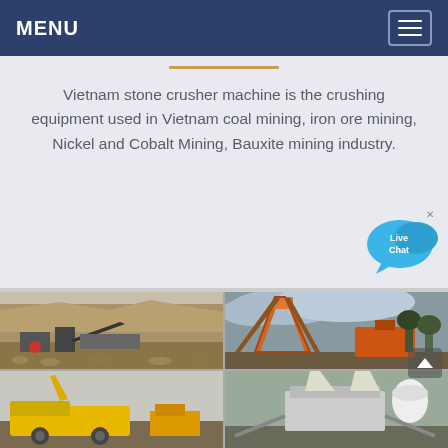MENU
Vietnam stone crusher machine is the crushing equipment used in Vietnam coal mining, iron ore mining, Nickel and Cobalt Mining, Bauxite mining industry.
[Figure (photo): Stone crushing plant at a quarry site with rocky hillside in background]
[Figure (photo): Orange industrial conveyor and screening equipment at a mining site with cloudy sky]
[Figure (photo): Yellow heavy machinery at a mining or construction site]
[Figure (photo): Industrial sorting or screening equipment at a mining facility]